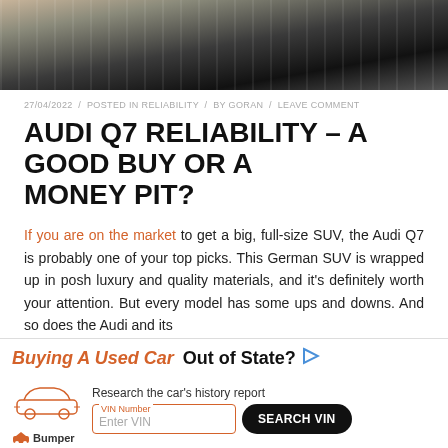[Figure (photo): Close-up photo of a car grille, dark chrome metallic details, partial view]
27/04/2022 / POSTED IN RELIABILITY / BY GORAN / LEAVE COMMENT
AUDI Q7 RELIABILITY – A GOOD BUY OR A MONEY PIT?
If you are on the market to get a big, full-size SUV, the Audi Q7 is probably one of your top picks. This German SUV is wrapped up in posh luxury and quality materials, and it's definitely worth your attention. But every model has some ups and downs. And so does the Audi and its Audi Q7 reliability...
[Figure (infographic): Bumper ad banner: Buying A Used Car Out of State? Research the car's history report. VIN Number input field with Enter VIN placeholder and SEARCH VIN button. Bumper logo with car icon.]